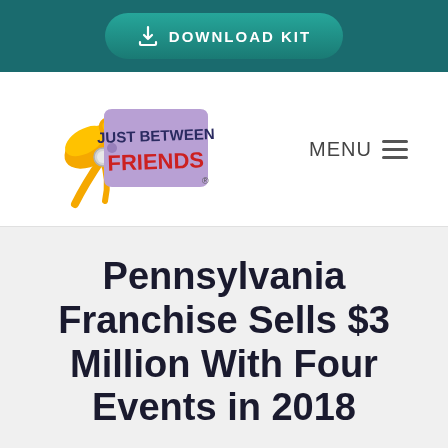DOWNLOAD KIT
[Figure (logo): Just Between Friends logo — a purple price-tag shaped badge with yellow ribbon bow, text 'Just Between Friends' with 'FRIENDS' in red letters]
MENU ≡
Pennsylvania Franchise Sells $3 Million With Four Events in 2018